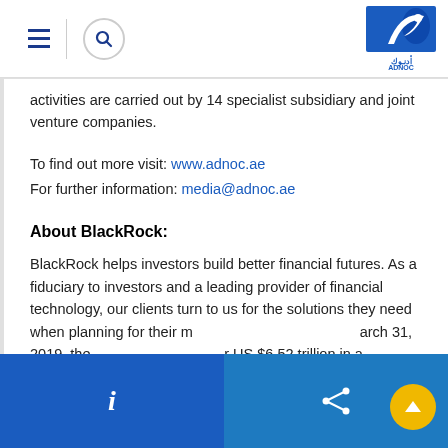ADNOC navigation header with hamburger menu, search icon, and ADNOC logo
activities are carried out by 14 specialist subsidiary and joint venture companies.
To find out more visit: www.adnoc.ae
For further information: media@adnoc.ae
About BlackRock:
BlackRock helps investors build better financial futures. As a fiduciary to investors and a leading provider of financial technology, our clients turn to us for the solutions they need when planning for their m[ore...] March 31, 2019, the [...] US $6.52 trillion in a[ssets]